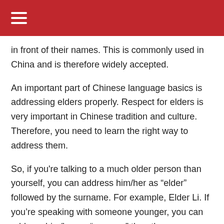in front of their names. This is commonly used in China and is therefore widely accepted.
An important part of Chinese language basics is addressing elders properly. Respect for elders is very important in Chinese tradition and culture. Therefore, you need to learn the right way to address them.
So, if you’re talking to a much older person than yourself, you can address him/her as “elder” followed by the surname. For example, Elder Li. If you’re speaking with someone younger, you can address him/her as “younger” then the surname.
Take A Chinese Class to Learn More!
You can also checkout the article on our blog...